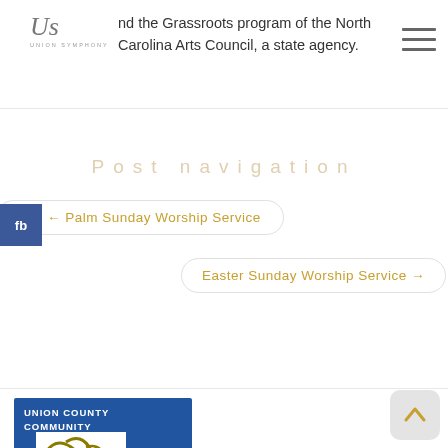nd the Grassroots program of the North Carolina Arts Council, a state agency.
Post navigation
← Palm Sunday Worship Service
Easter Sunday Worship Service →
[Figure (logo): Union County Community Arts logo — blue square with white box containing gold stylized 'arts' script, text 'UNION COUNTY COMMUNITY' in white at top]
[Figure (logo): Back to top scroll button — light gray rounded square with gold upward chevron arrow]